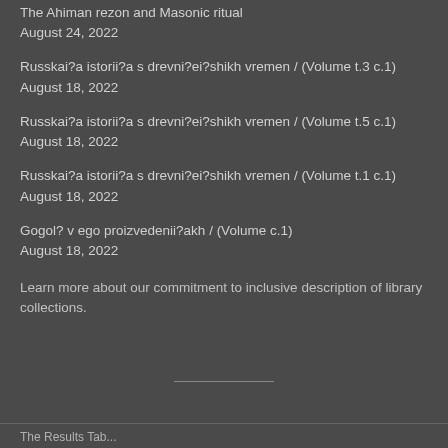The Ahiman rezon and Masonic ritual
August 24, 2022
Russkai?a istorii?a s drevni?ei?shikh vremen / (Volume t.3 c.1)
August 18, 2022
Russkai?a istorii?a s drevni?ei?shikh vremen / (Volume t.5 c.1)
August 18, 2022
Russkai?a istorii?a s drevni?ei?shikh vremen / (Volume t.1 c.1)
August 18, 2022
Gogol? v ego proizvedenii?akh / (Volume c.1)
August 18, 2022
Learn more about our commitment to inclusive description of library collections.
The Results Tab...